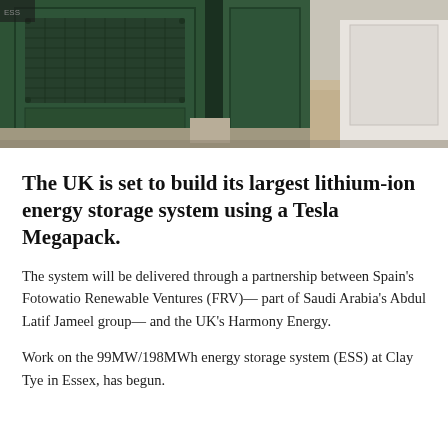[Figure (photo): Photograph of large dark green industrial battery storage units (Tesla Megapack style enclosures) with mesh ventilation panels, sitting on a gravel/concrete base outdoors.]
The UK is set to build its largest lithium-ion energy storage system using a Tesla Megapack.
The system will be delivered through a partnership between Spain's Fotowatio Renewable Ventures (FRV)— part of Saudi Arabia's Abdul Latif Jameel group— and the UK's Harmony Energy.
Work on the 99MW/198MWh energy storage system (ESS) at Clay Tye in Essex, has begun.